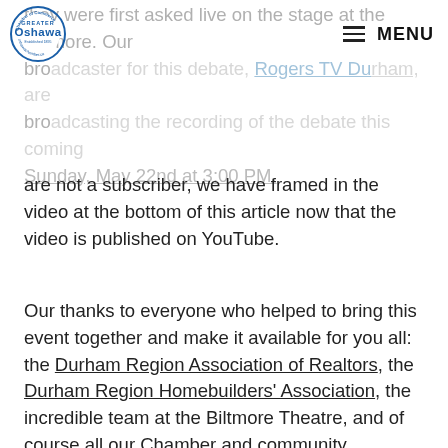Greater Oshawa Chamber of Commerce logo | MENU
they were first asked live on the stage at the Biltmore. Our broadcaster for this debate, Rogers TV Durham, are broadcasting the recording of the debate this coming Sunday, May 22nd at 3:00 PM. If you miss the broadcast or are not a subscriber, we have framed in the video at the bottom of this article now that the video is published on YouTube.
Our thanks to everyone who helped to bring this event together and make it available for you all: the Durham Region Association of Realtors, the Durham Region Homebuilders' Association, the incredible team at the Biltmore Theatre, and of course all our Chamber and community members who came out and attended the event in person. Finally, no matter the outcome of the forthcoming election, our thanks to our debate candidates and, indeed, to all candidates who are running for MPP.